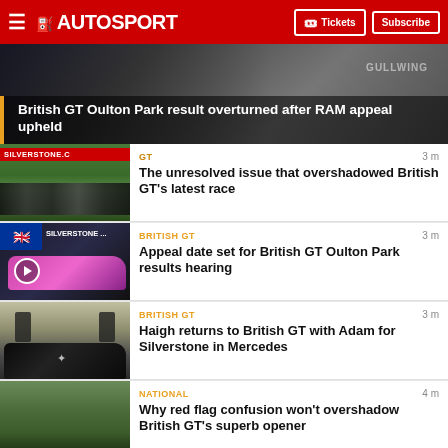AUTOSPORT — Tickets | Subscribe
[Figure (photo): Hero banner: British GT Oulton Park race scene with GULLWING signage in background]
British GT Oulton Park result overturned after RAM appeal upheld
[Figure (photo): Silverstone race start with multiple GT cars on track, red SILVERSTONE.C banner visible]
GT
3 m
The unresolved issue that overshadowed British GT's latest race
[Figure (photo): Video thumbnail: Pink/magenta Mercedes GT car at Silverstone with UK flag, play button overlay. Label: SILVERSTONE...]
BRITISH GT
3 m
Appeal date set for British GT Oulton Park results hearing
[Figure (photo): Two drivers standing in front of a black Mercedes AMG GT at a race track]
BRITISH GT
3 m
Haigh returns to British GT with Adam for Silverstone in Mercedes
[Figure (photo): Crowd gathered at British GT race venue, green hills and pit lane visible]
NATIONAL
4 m
Why red flag confusion won't overshadow British GT's superb opener